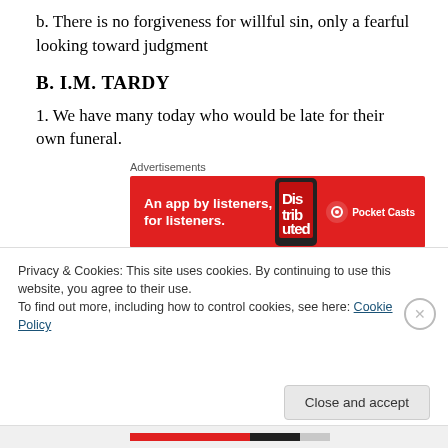b. There is no forgiveness for willful sin, only a fearful looking toward judgment
B. I.M. TARDY
1. We have many today who would be late for their own funeral.
[Figure (screenshot): Pocket Casts advertisement banner: red background with text 'An app by listeners, for listeners.' and Pocket Casts logo on the right, phone image in the middle]
2. One thing that I find interesting though, is that many in
Privacy & Cookies: This site uses cookies. By continuing to use this website, you agree to their use.
To find out more, including how to control cookies, see here: Cookie Policy
Close and accept